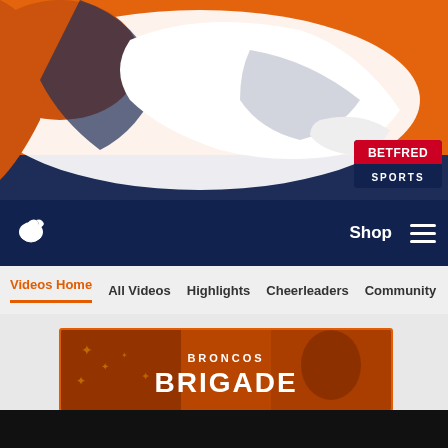[Figure (illustration): Denver Broncos hero banner with orange and navy blue horse logo graphic, partially cropped at top]
[Figure (logo): Betfred Sports logo badge — red top with BETFRED in white bold, navy bottom with SPORTS in white]
[Figure (logo): Denver Broncos horse logo in white on navy navigation bar]
Shop
Videos Home | All Videos | Highlights | Cheerleaders | Community
[Figure (illustration): Broncos Brigade banner — orange background with patriotic imagery and bold white text reading BRONCOS BRIGADE]
[Figure (screenshot): Black video player area]